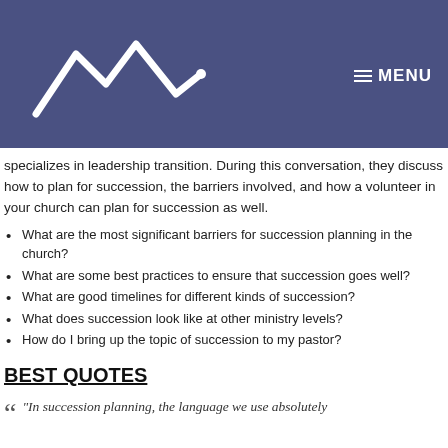[Figure (logo): Mountain/peak logo in white on purple background with hamburger menu icon and MENU text]
specializes in leadership transition. During this conversation, they discuss how to plan for succession, the barriers involved, and how a volunteer in your church can plan for succession as well.
What are the most significant barriers for succession planning in the church?
What are some best practices to ensure that succession goes well?
What are good timelines for different kinds of succession?
What does succession look like at other ministry levels?
How do I bring up the topic of succession to my pastor?
BEST QUOTES
“In succession planning, the language we use absolutely